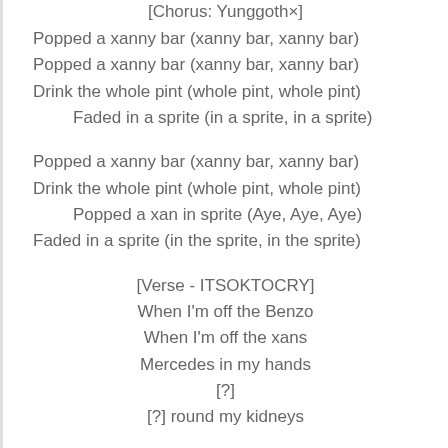[Chorus: Yunggoth×]
Popped a xanny bar (xanny bar, xanny bar)
Popped a xanny bar (xanny bar, xanny bar)
Drink the whole pint (whole pint, whole pint)
Faded in a sprite (in a sprite, in a sprite)
Popped a xanny bar (xanny bar, xanny bar)
Drink the whole pint (whole pint, whole pint)
Popped a xan in sprite (Aye, Aye, Aye)
Faded in a sprite (in the sprite, in the sprite)
[Verse - ITSOKTOCRY]
When I'm off the Benzo
When I'm off the xans
Mercedes in my hands
[?]
[?] round my kidneys